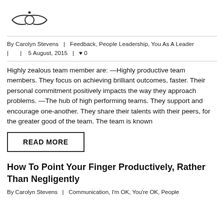[Figure (logo): Saturn-like planet/ring logo icon]
By Carolyn Stevens  |  Feedback, People Leadership, You As A Leader  |  |  5 August, 2015  |  ♥ 0
Highly zealous team member are: —Highly productive team members. They focus on achieving brilliant outcomes, faster. Their personal commitment positively impacts the way they approach problems. —The hub of high performing teams. They support and encourage one-another. They share their talents with their peers, for the greater good of the team. The team is known
READ MORE
How To Point Your Finger Productively, Rather Than Negligently
By Carolyn Stevens  |  Communication, I'm OK, You're OK, People